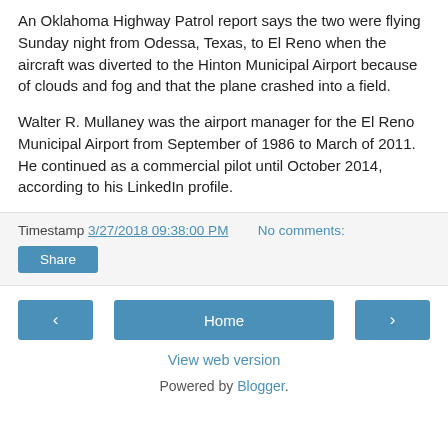An Oklahoma Highway Patrol report says the two were flying Sunday night from Odessa, Texas, to El Reno when the aircraft was diverted to the Hinton Municipal Airport because of clouds and fog and that the plane crashed into a field.
Walter R. Mullaney was the airport manager for the El Reno Municipal Airport from September of 1986 to March of 2011. He continued as a commercial pilot until October 2014, according to his LinkedIn profile.
Timestamp 3/27/2018 09:38:00 PM   No comments:
Share
‹   Home   ›
View web version
Powered by Blogger.